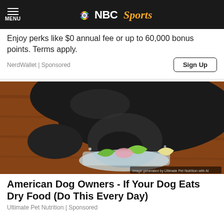MENU | NBC Sports
Enjoy perks like $0 annual fee or up to 60,000 bonus points. Terms apply.
NerdWallet | Sponsored
[Figure (photo): A black dog eating or sniffing lime/lemon wedges from a small glass dish on a wooden surface. Image generated by Ultimate Pet Nutrition with AI.]
American Dog Owners - If Your Dog Eats Dry Food (Do This Every Day)
Ultimate Pet Nutrition | Sponsored